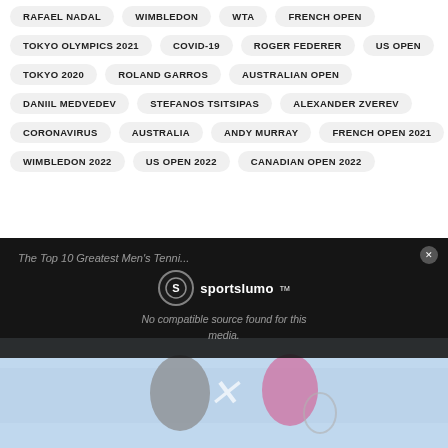RAFAEL NADAL
WIMBLEDON
WTA
FRENCH OPEN
TOKYO OLYMPICS 2021
COVID-19
ROGER FEDERER
US OPEN
TOKYO 2020
ROLAND GARROS
AUSTRALIAN OPEN
DANIIL MEDVEDEV
STEFANOS TSITSIPAS
ALEXANDER ZVEREV
CORONAVIRUS
AUSTRALIA
ANDY MURRAY
FRENCH OPEN 2021
WIMBLEDON 2022
US OPEN 2022
CANADIAN OPEN 2022
[Figure (screenshot): Video player overlay showing Sportslumo logo and 'No compatible source found for this media.' error message, with a tennis photo visible below.]